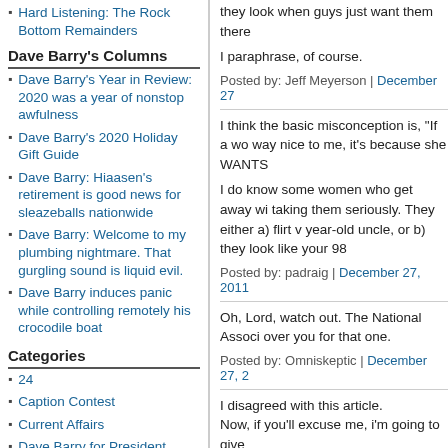Hard Listening: The Rock Bottom Remainders
Dave Barry's Columns
Dave Barry's Year in Review: 2020 was a year of nonstop awfulness
Dave Barry's 2020 Holiday Gift Guide
Dave Barry: Hiaasen's retirement is good news for sleazeballs nationwide
Dave Barry: Welcome to my plumbing nightmare. That gurgling sound is liquid evil.
Dave Barry induces panic while controlling remotely his crocodile boat
Categories
24
Caption Contest
Current Affairs
Dave Barry for President
Do Not Click This Link
they look when guys just want them there
I paraphrase, of course.
Posted by: Jeff Meyerson | December 27
I think the basic misconception is, "If a wo way nice to me, it's because she WANTS
I do know some women who get away wi taking them seriously. They either a) flirt v year-old uncle, or b) they look like your 98
Posted by: padraig | December 27, 2011
Oh, Lord, watch out. The National Associ over you for that one.
Posted by: Omniskeptic | December 27, 2
I disagreed with this article.
Now, if you'll excuse me, i'm going to give